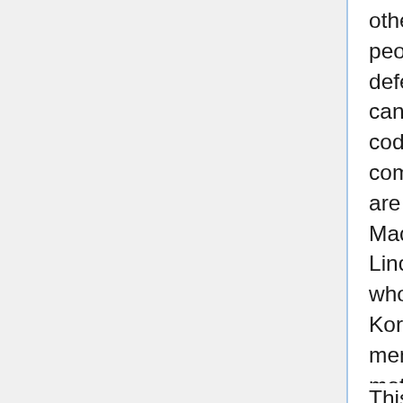others are more explicit in private. But the only two people in the government higher than the secretary of defense are the president and vice president. They cannot be fired, of course, and the unspoken military code normally precludes direct public attacks on the commander in chief when troops are under fire. (There are exceptions to this rule, of course: In addition to MacArthur, there was Gen. George McClellan vs. Lincoln; and on a lesser note, Maj. Gen. John Singlaub, who was fired for attacking President Jimmy Carter over Korea policy. But such challenges are rare enough to be memorable, and none of these solo rebellions metastasized into a group, a movement that can fairly be described as a revolt.)
This has put President Bush and his